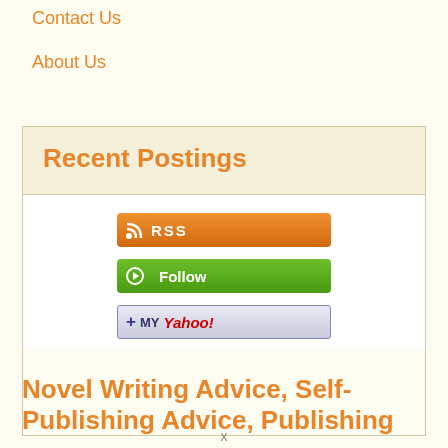Contact Us
About Us
Recent Postings
[Figure (screenshot): RSS subscription button (orange)]
[Figure (screenshot): Follow button (green)]
[Figure (screenshot): Add to My Yahoo! button]
Novel Writing Advice, Self-Publishing Advice, Publishing